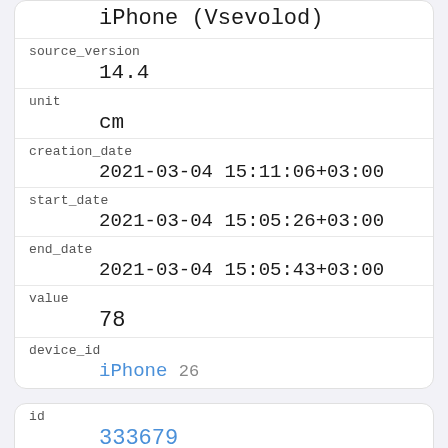| iPhone (Vsevolod) |
| source_version | 14.4 |
| unit | cm |
| creation_date | 2021-03-04 15:11:06+03:00 |
| start_date | 2021-03-04 15:05:26+03:00 |
| end_date | 2021-03-04 15:05:43+03:00 |
| value | 78 |
| device_id | iPhone 26 |
| id | 333679 |
| created_at | 2021-03-04 17:19:38.527799+03:00 |